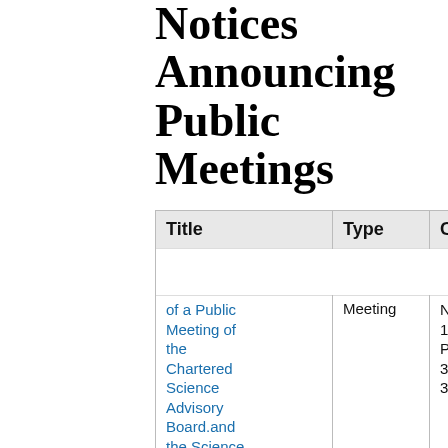Notices Announcing Public Meetings
| Title | Type | Citation |
| --- | --- | --- |
| of a Public Meeting of the Chartered Science Advisory Board.and the Science Advisory Board Chemical Assessment Advisory Committee | Meeting | Nu 103 Pag 326 320 |
| Notification | Public | Vo |